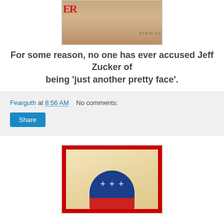[Figure (photo): Photo of Jeff Zucker at an event with partial text 'ER' visible on left and 'STEIN Co' watermark on right in background.]
For some reason, no one has ever accused Jeff Zucker of being 'just another pretty face'.
Fearguth at 8:56 AM    No comments:
[Figure (illustration): Republican Party elephant logo modified to show three crosses instead of stars, with red decorative border on aged parchment background.]